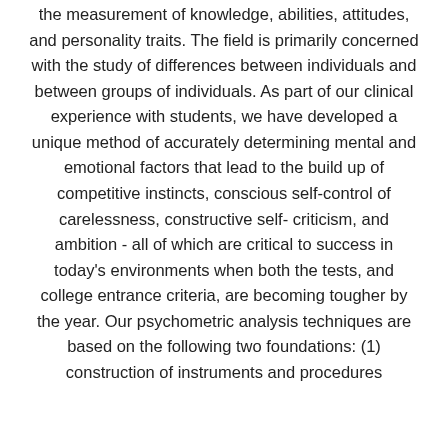the measurement of knowledge, abilities, attitudes, and personality traits. The field is primarily concerned with the study of differences between individuals and between groups of individuals. As part of our clinical experience with students, we have developed a unique method of accurately determining mental and emotional factors that lead to the build up of competitive instincts, conscious self-control of carelessness, constructive self-criticism, and ambition - all of which are critical to success in today's environments when both the tests, and college entrance criteria, are becoming tougher by the year. Our psychometric analysis techniques are based on the following two foundations: (1) construction of instruments and procedures